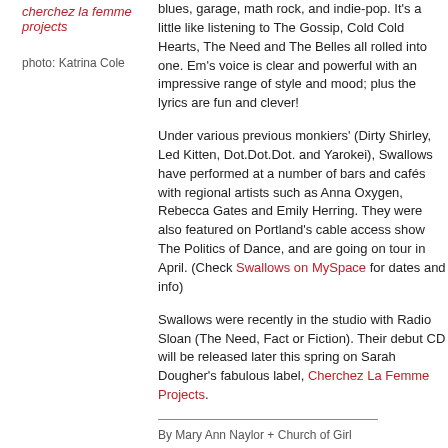cherchez la femme projects
photo:  Katrina Cole
blues, garage, math rock, and indie-pop. It's a little like listening to The Gossip, Cold Cold Hearts, The Need and The Belles all rolled into one. Em's voice is clear and powerful with an impressive range of style and mood; plus the lyrics are fun and clever!
Under various previous monkiers' (Dirty Shirley, Led Kitten, Dot.Dot.Dot. and Yarokei), Swallows have performed at a number of bars and cafés with regional artists such as Anna Oxygen, Rebecca Gates and Emily Herring. They were also featured on Portland's cable access show The Politics of Dance, and are going on tour in April. (Check Swallows on MySpace for dates and info)
Swallows were recently in the studio with Radio Sloan (The Need, Fact or Fiction). Their debut CD will be released later this spring on Sarah Dougher's fabulous label, Cherchez La Femme Projects.
By Mary Ann Naylor + Church of Girl
11. February . 2006
chronological